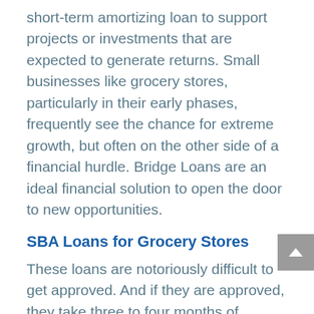short-term amortizing loan to support projects or investments that are expected to generate returns. Small businesses like grocery stores, particularly in their early phases, frequently see the chance for extreme growth, but often on the other side of a financial hurdle. Bridge Loans are an ideal financial solution to open the door to new opportunities.
SBA Loans for Grocery Stores
These loans are notoriously difficult to get approved. And if they are approved, they take three to four months of application process before a final approval is issued and the loan then funded. ARF Financial can you approved for grocery store financing in 24-48 hours and your